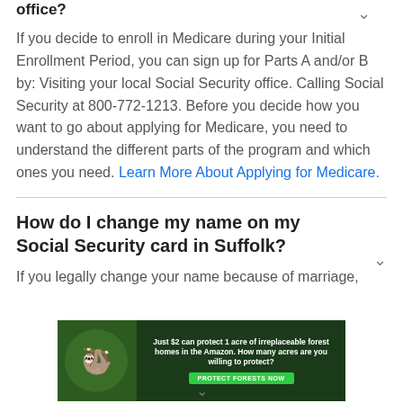office?
If you decide to enroll in Medicare during your Initial Enrollment Period, you can sign up for Parts A and/or B by: Visiting your local Social Security office. Calling Social Security at 800-772-1213. Before you decide how you want to go about applying for Medicare, you need to understand the different parts of the program and which ones you need. Learn More About Applying for Medicare.
How do I change my name on my Social Security card in Suffolk?
If you legally change your name because of marriage,
[Figure (infographic): Advertisement banner: dark green background with rainforest/sloth imagery. Text reads: Just $2 can protect 1 acre of irreplaceable forest homes in the Amazon. How many acres are you willing to protect? Button: PROTECT FORESTS NOW]